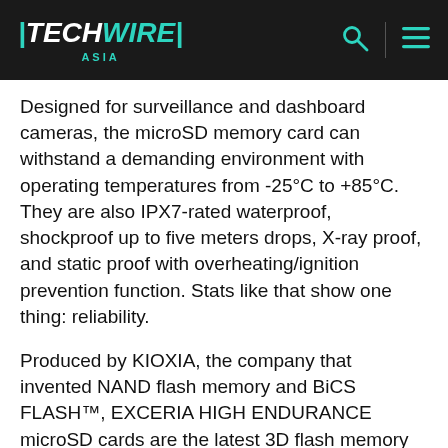TECHWIRE ASIA
Designed for surveillance and dashboard cameras, the microSD memory card can withstand a demanding environment with operating temperatures from -25°C to +85°C. They are also IPX7-rated waterproof, shockproof up to five meters drops, X-ray proof, and static proof with overheating/ignition prevention function. Stats like that show one thing: reliability.
Produced by KIOXIA, the company that invented NAND flash memory and BiCS FLASH™, EXCERIA HIGH ENDURANCE microSD cards are the latest 3D flash memory for high-performance storage and data processing. KIOXIA constructed the EXCERIA HIGH ENDURANCE microSD card for constant write and